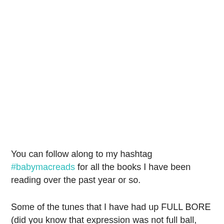You can follow along to my hashtag #babymacreads for all the books I have been reading over the past year or so.
Some of the tunes that I have had up FULL BORE (did you know that expression was not full ball, shit I have had it wrong my whole life no surprises really) in between school drop offs and